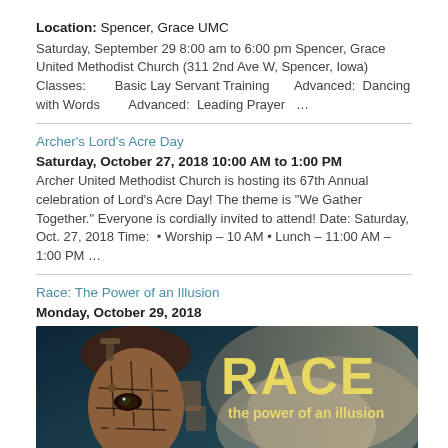Location: Spencer, Grace UMC
Saturday, September 29 8:00 am to 6:00 pm Spencer, Grace United Methodist Church (311 2nd Ave W, Spencer, Iowa)   Classes:        Basic Lay Servant Training       Advanced:  Dancing with Words       Advanced:  Leading Prayer   …
Archer's Lord's Acre Day
Saturday, October 27, 2018 10:00 AM to 1:00 PM
Archer United Methodist Church is hosting its 67th Annual celebration of Lord's Acre Day! The theme is "We Gather Together." Everyone is cordially invited to attend! Date: Saturday, Oct. 27, 2018 Time: • Worship – 10 AM • Lunch – 11:00 AM – 1:00 PM …
Race: The Power of an Illusion
Monday, October 29, 2018
[Figure (illustration): Promotional image for 'Race: The Power of an Illusion' showing a person's face partially fragmented like puzzle pieces on dark teal background, with large yellow bold text 'RACE' and subtitle 'the power of an illusion' in yellow-white text.]